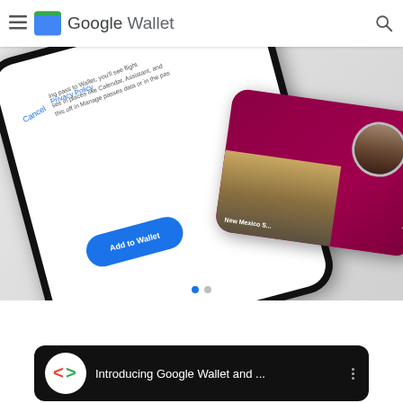Google Wallet
[Figure (screenshot): Screenshot of Google Wallet app showing two phones: one displaying an 'Add to Wallet' dialog with a blue button and Cancel/Privacy Policy links, and another showing a New Mexico state ID card for Isabella Rodrig... with a photo thumbnail on a dark pink/maroon card background.]
[Figure (screenshot): Black video card thumbnail showing the Google for Developers logo (colored angle brackets) in a white circle, with title text 'Introducing Google Wallet and ...' and a three-dot menu icon on the right.]